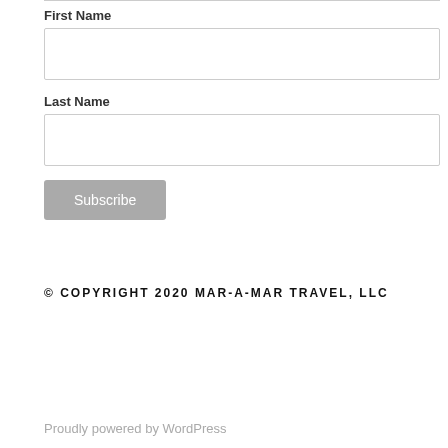First Name
Last Name
Subscribe
© COPYRIGHT 2020 MAR-A-MAR TRAVEL, LLC
Proudly powered by WordPress